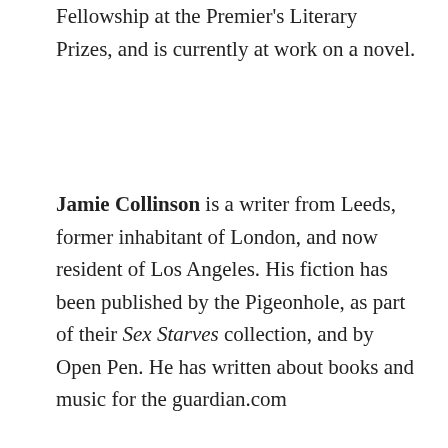Fellowship at the Premier's Literary Prizes, and is currently at work on a novel.
Jamie Collinson is a writer from Leeds, former inhabitant of London, and now resident of Los Angeles. His fiction has been published by the Pigeonhole, as part of their Sex Starves collection, and by Open Pen. He has written about books and music for the guardian.com
[Figure (photo): Black and white portrait photo of a person, partially cropped, showing head and shoulders from a low angle]